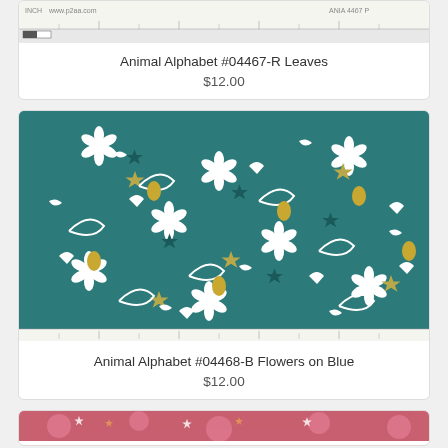[Figure (photo): Fabric swatch for Animal Alphabet #04467-R Leaves with ruler shown at top]
Animal Alphabet #04467-R Leaves
$12.00
[Figure (photo): Fabric swatch for Animal Alphabet #04468-B Flowers on Blue - teal background with white flowers, gold pineapples and dark star shapes, ruler shown at bottom]
Animal Alphabet #04468-B Flowers on Blue
$12.00
[Figure (photo): Partial fabric swatch - pink/coral background with flower pattern, partially visible at bottom of page]